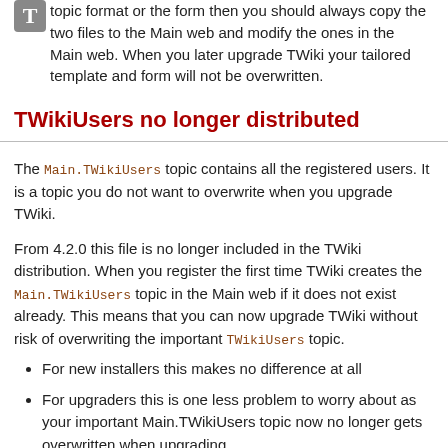topic format or the form then you should always copy the two files to the Main web and modify the ones in the Main web. When you later upgrade TWiki your tailored template and form will not be overwritten.
TWikiUsers no longer distributed
The Main.TWikiUsers topic contains all the registered users. It is a topic you do not want to overwrite when you upgrade TWiki.
From 4.2.0 this file is no longer included in the TWiki distribution. When you register the first time TWiki creates the Main.TWikiUsers topic in the Main web if it does not exist already. This means that you can now upgrade TWiki without risk of overwriting the important TWikiUsers topic.
For new installers this makes no difference at all
For upgraders this is one less problem to worry about as your important Main.TWikiUsers topic now no longer gets overwritten when upgrading.